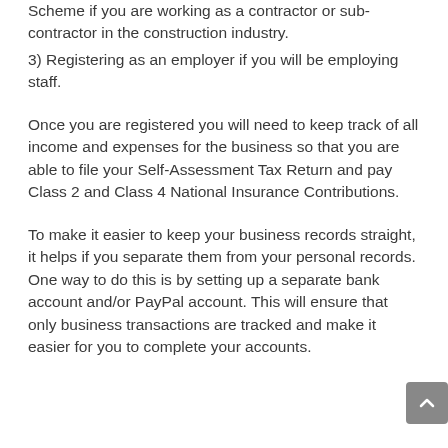Scheme if you are working as a contractor or sub-contractor in the construction industry.
3) Registering as an employer if you will be employing staff.
Once you are registered you will need to keep track of all income and expenses for the business so that you are able to file your Self-Assessment Tax Return and pay Class 2 and Class 4 National Insurance Contributions.
To make it easier to keep your business records straight, it helps if you separate them from your personal records. One way to do this is by setting up a separate bank account and/or PayPal account. This will ensure that only business transactions are tracked and make it easier for you to complete your accounts.